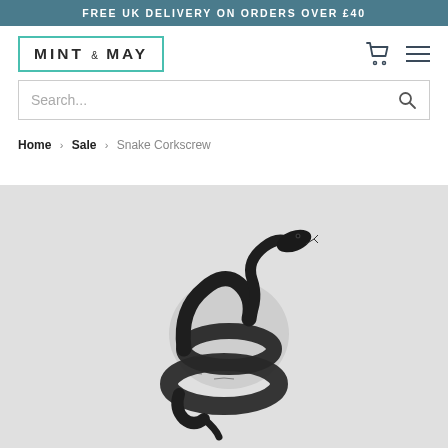FREE UK DELIVERY ON ORDERS OVER £40
[Figure (logo): Mint & May logo with teal border]
Search...
Home › Sale › Snake Corkscrew
[Figure (photo): Black snake-shaped corkscrew product photo on light grey background]